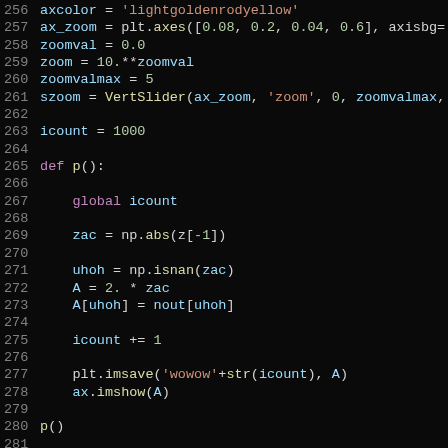[Figure (screenshot): Python source code snippet with syntax highlighting on dark background, lines 256-283]